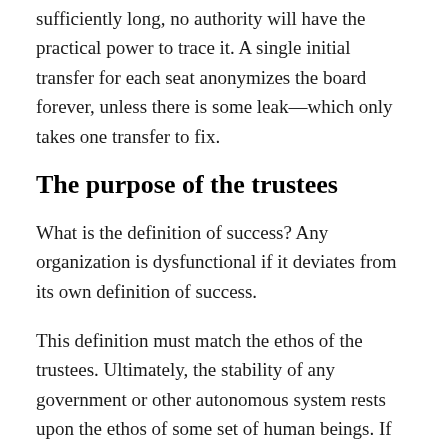sufficiently long, no authority will have the practical power to trace it. A single initial transfer for each seat anonymizes the board forever, unless there is some leak—which only takes one transfer to fix.
The purpose of the trustees
What is the definition of success? Any organization is dysfunctional if it deviates from its own definition of success.
This definition must match the ethos of the trustees. Ultimately, the stability of any government or other autonomous system rests upon the ethos of some set of human beings. If this set of humans is corrupted, the government is also corrupted.
The OAO addresses this by resting its ethical stability